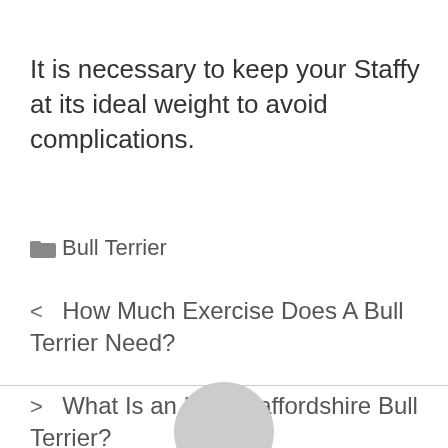It is necessary to keep your Staffy at its ideal weight to avoid complications.
Bull Terrier
< How Much Exercise Does A Bull Terrier Need?
> What Is an Irish Staffordshire Bull Terrier?